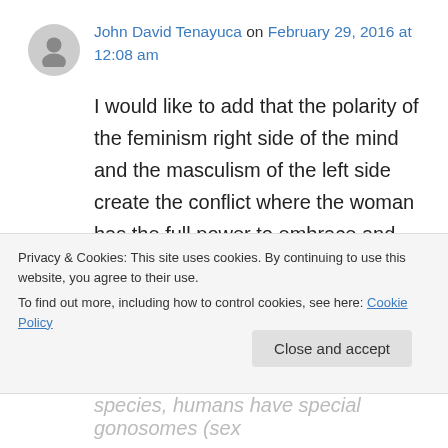John David Tenayuca on February 29, 2016 at 12:08 am
I would like to add that the polarity of the feminism right side of the mind and the masculism of the left side create the conflict where the woman has the full power to embrace and nurture their true power as goddesses who procreate our species. We have lost site of their purpose for their ability to accept their ancient ways of taking care of their loved ones. Their
Privacy & Cookies: This site uses cookies. By continuing to use this website, you agree to their use.
To find out more, including how to control cookies, see here: Cookie Policy
Close and accept
species, humans have special gonosomes (sex